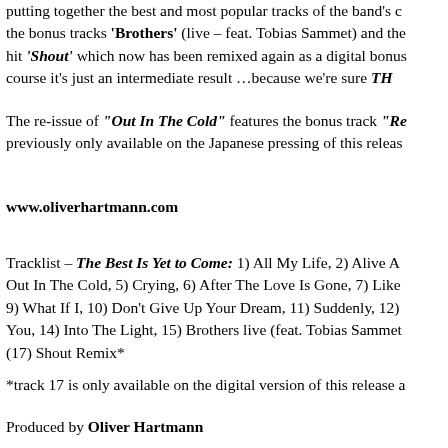putting together the best and most popular tracks of the band's … the bonus tracks 'Brothers' (live – feat. Tobias Sammet) and the hit 'Shout' which now has been remixed again as a digital bonus … course it's just an intermediate result …because we're sure TH
The re-issue of "Out In The Cold" features the bonus track "Re… previously only available on the Japanese pressing of this releas…
www.oliverhartmann.com
Tracklist – The Best Is Yet to Come: 1) All My Life, 2) Alive A… Out In The Cold, 5) Crying, 6) After The Love Is Gone, 7) Like … 9) What If I, 10) Don't Give Up Your Dream, 11) Suddenly, 12) … You, 14) Into The Light, 15) Brothers live (feat. Tobias Sammet … (17) Shout Remix*
*track 17 is only available on the digital version of this release a…
Produced by Oliver Hartmann